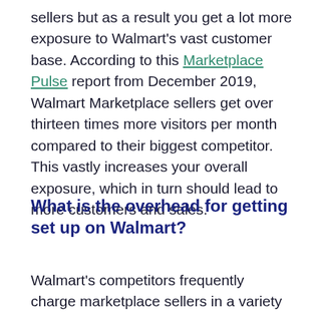sellers but as a result you get a lot more exposure to Walmart's vast customer base. According to this Marketplace Pulse report from December 2019, Walmart Marketplace sellers get over thirteen times more visitors per month compared to their biggest competitor. This vastly increases your overall exposure, which in turn should lead to more customers and sales.
What is the overhead for getting set up on Walmart?
Walmart's competitors frequently charge marketplace sellers in a variety of ways, such